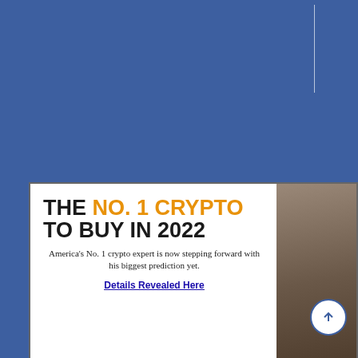[Figure (screenshot): Blue background webpage section with a white vertical line in the upper right area]
THE NO. 1 CRYPTO TO BUY IN 2022
America's No. 1 crypto expert is now stepping forward with his biggest prediction yet.
Details Revealed Here
OUR EXPERTS HAVE BEEN QUO...
[Figure (logo): Reuters logo]
[Figure (logo): MarketWatch logo]
[Figure (logo): FOX Business logo (partially visible)]
[Figure (logo): Bloomberg logo (partially visible)]
[Figure (logo): The New York Times logo (partially visible)]
[Figure (logo): POLITICO logo (partially visible)]